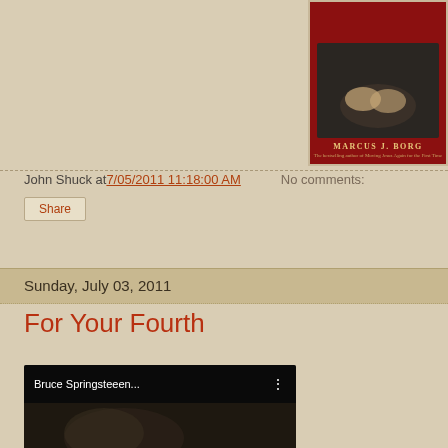[Figure (photo): Book cover for a Marcus J. Borg book with dark cover showing hands and red band at bottom with author name]
John Shuck at 7/05/2011 11:18:00 AM   No comments:
Share
Sunday, July 03, 2011
For Your Fourth
[Figure (screenshot): YouTube video thumbnail showing Bruce Springsteen with play button]